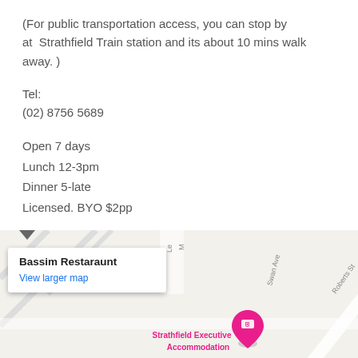(For public transportation access, you can stop by at Strathfield Train station and its about 10 mins walk away. )
Tel:
(02) 8756 5689
Open 7 days
Lunch 12-3pm
Dinner 5-late
Licensed. BYO $2pp
[Figure (map): Google Maps embed showing Bassim Restaraunt near Swan Ave and Roberts St, with Strathfield Executive Accommodation marked with a pink pin. Popup shows 'Bassim Restaraunt' and 'View larger map' link.]